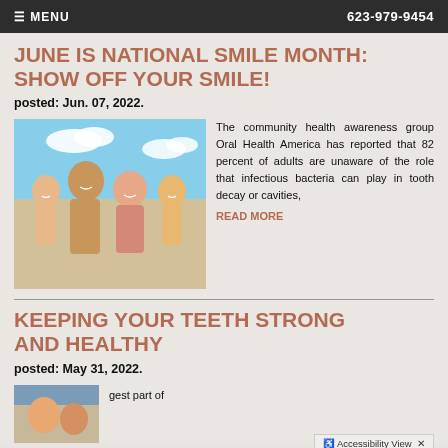≡ MENU   623-979-9454
JUNE IS NATIONAL SMILE MONTH: SHOW OFF YOUR SMILE!
posted: Jun. 07, 2022.
[Figure (photo): Family of four smiling on a beach, lying in the sand]
The community health awareness group Oral Health America has reported that 82 percent of adults are unaware of the role that infectious bacteria can play in tooth decay or cavities,
READ MORE
KEEPING YOUR TEETH STRONG AND HEALTHY
posted: May 31, 2022.
[Figure (photo): Partial image at bottom of page, partially obscured by Accessibility View bar]
gest part of
Accessibility View ✕